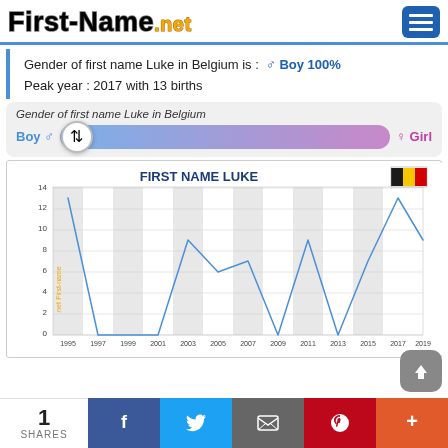[Figure (logo): First-Name.net logo with hamburger menu button]
Gender of first name Luke in Belgium is : ♂ Boy 100%
Peak year : 2017 with 13 births
Gender of first name Luke in Belgium
[Figure (infographic): Gender slider showing Boy on left (blue) to Girl on right (pink), with thumb all the way left indicating 100% Boy]
[Figure (line-chart): Line chart showing births of first name Luke in Belgium from 1995 to 2019 with peak at 2017 with 13 births]
1 SHARES | Facebook | Twitter | Email | Pinterest | +